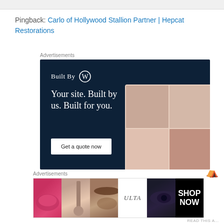Pingback: Carlo of Hollywood Stallion Partner | Hepcat Restorations
Advertisements
[Figure (illustration): WordPress 'Built By' advertisement on dark navy background. Shows WordPress logo icon and text 'Built By', headline 'Your site. Built by us. Built for you.', a white 'Get a quote now' button, and a mockup of a website with fashion photos on the right side.]
Advertisements
[Figure (illustration): ULTA Beauty banner advertisement showing close-up beauty/makeup images including red lips, makeup brush, eyebrow, ULTA logo, eye with dark makeup, and 'SHOP NOW' text on black background.]